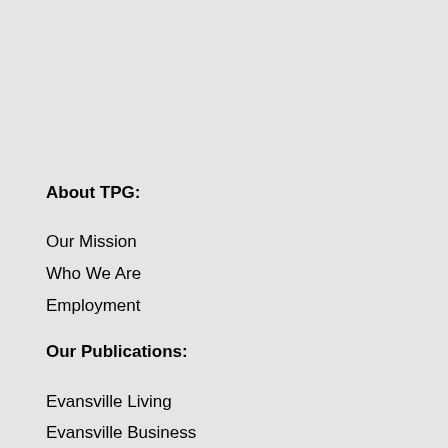About TPG:
Our Mission
Who We Are
Employment
Our Publications:
Evansville Living
Evansville Business
Get Connected: